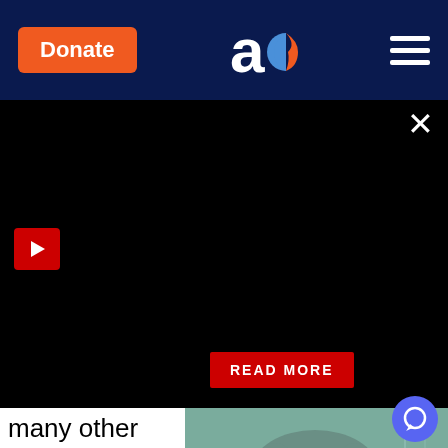Donate | [Aish logo] | [Menu]
[Figure (screenshot): Black ad/video overlay panel with close X button, red play button top-left, and red READ MORE button in center]
many other Warsaw Jews, I felt insatiated. Ostensibly prepari
[Figure (photo): Vintage green-tinted black and white photo of a smiling woman holding a small animal]